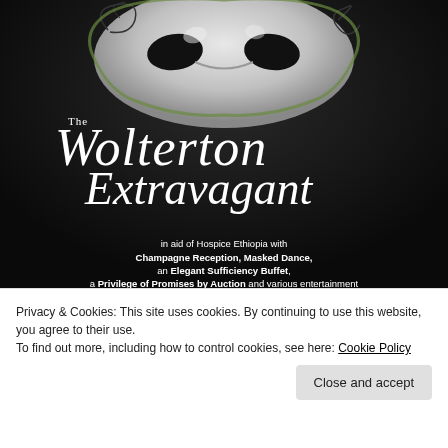[Figure (photo): Venetian masquerade mask (white/silver with decorative scroll patterns and green/gold trim) on dark black background]
The Wolterton Extravagant
in aid of Hospice Ethiopia with Champagne Reception, Masked Dance, an Elegant Sufficiency Buffet, a Privilege of Promises by Auction and various entertainment
In the Marble Room & grounds of Wolterton Hall, Wickmere
by kind permission of Mr Peter Sheppard & Mr Keith Day
Privacy & Cookies: This site uses cookies. By continuing to use this website, you agree to their use. To find out more, including how to control cookies, see here: Cookie Policy
Close and accept